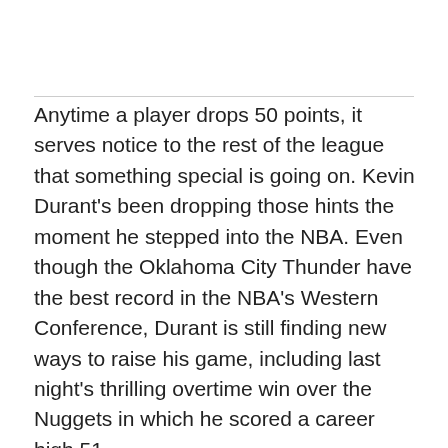Anytime a player drops 50 points, it serves notice to the rest of the league that something special is going on. Kevin Durant's been dropping those hints the moment he stepped into the NBA. Even though the Oklahoma City Thunder have the best record in the NBA's Western Conference, Durant is still finding new ways to raise his game, including last night's thrilling overtime win over the Nuggets in which he scored a career high 51.